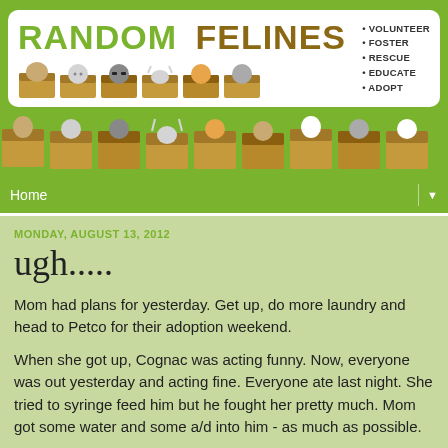[Figure (illustration): Random Felines blog header with logo showing cats in boxes, green background, and bullet list: VOLUNTEER, FOSTER, RESCUE, EDUCATE, ADOPT]
[Figure (illustration): A strip of cartoon cats peeking out of cardboard boxes across the full width]
Home
MONDAY, AUGUST 13, 2012
ugh.....
Mom had plans for yesterday. Get up, do more laundry and head to Petco for their adoption weekend.
When she got up, Cognac was acting funny. Now, everyone was out yesterday and acting fine. Everyone ate last night. She tried to syringe feed him but he fought her pretty much. Mom got some water and some a/d into him - as much as possible.